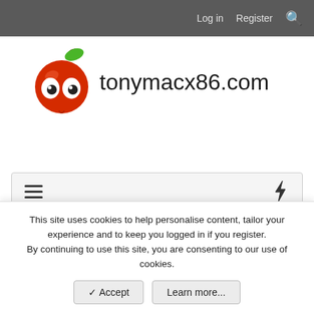Log in  Register  [search]
[Figure (logo): tonymacx86.com logo with red apple character and site name]
[Figure (screenshot): Navigation bar with hamburger menu icon on left and lightning bolt icon on right]
< Graphics
OSX freeze after installing official nVidia Fermi dri...
This site uses cookies to help personalise content, tailor your experience and to keep you logged in if you register.
By continuing to use this site, you are consenting to our use of cookies.
✓ Accept   Learn more...